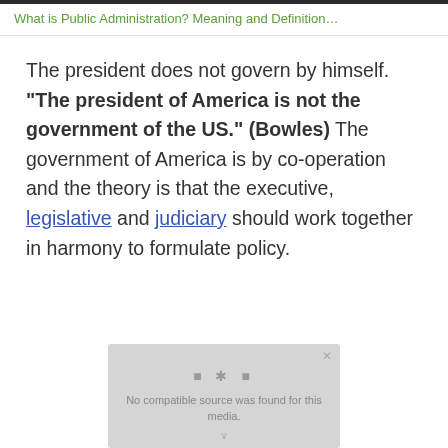What is Public Administration? Meaning and Definition…
The president does not govern by himself. "The president of America is not the government of the US." (Bowles) The government of America is by co-operation and the theory is that the executive, legislative and judiciary should work together in harmony to formulate policy.
[Figure (other): Video player placeholder showing 'No compatible source was found for this media.' message with dots and close button]